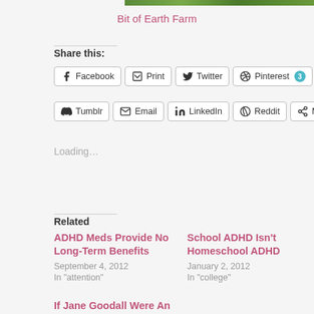[Figure (photo): Partial photo strip at top of page showing green foliage/farm scene]
Bit of Earth Farm
Share this:
Facebook  Print  Twitter  Pinterest 3  Tumblr  Email  LinkedIn  Reddit  More
Loading...
Related
ADHD Meds Provide No Long-Term Benefits
September 4, 2012
In "attention"
School ADHD Isn't Homeschool ADHD
January 2, 2012
In "college"
If Jane Goodall Were An